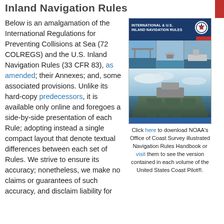Inland Navigation Rules
Below is an amalgamation of the International Regulations for Preventing Collisions at Sea (72 COLREGS) and the U.S. Inland Navigation Rules (33 CFR 83), as amended; their Annexes; and, some associated provisions. Unlike its hard-copy predecessors, it is available only online and foregoes a side-by-side presentation of each Rule; adopting instead a single compact layout that denote textual differences between each set of Rules. We strive to ensure its accuracy; nonetheless, we make no claims or guarantees of such
[Figure (photo): Cover of the NOAA International & U.S. Inland Navigation Rules book showing a ship on water and a Coast Guard seal]
Click here to download NOAA's Office of Coast Survey illustrated Navigation Rules Handbook or visit them to see the version contained in each volume of the United States Coast Pilot®.